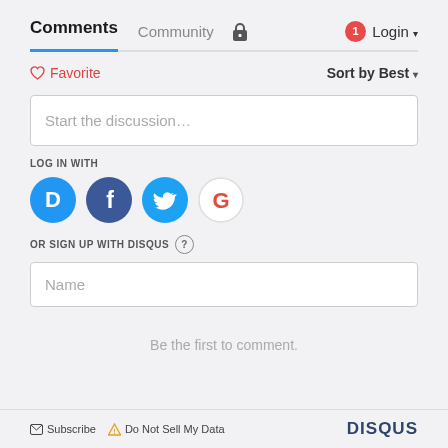Comments   Community   🔒   1  Login ▾
♡ Favorite    Sort by Best ▾
Start the discussion...
LOG IN WITH
[Figure (logo): Social login icons: Disqus (blue circle D), Facebook (dark blue circle f), Twitter (light blue circle bird), Google (red circle G)]
OR SIGN UP WITH DISQUS ?
Name
Be the first to comment.
✉ Subscribe  ⚠ Do Not Sell My Data    DISQUS